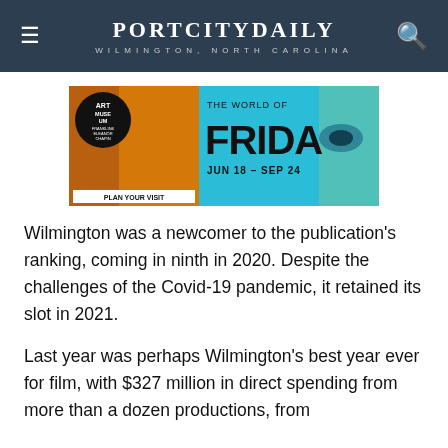PORT CITY DAILY — WILMINGTON, NORTH CAROLINA
[Figure (illustration): Advertisement banner for Art Museum 'The World of Frida' exhibition, JUN 18 – SEP 24. Features artwork of Frida Kahlo with butterflies and a circular Art Museum logo. Text: PLAN YOUR VISIT.]
Wilmington was a newcomer to the publication's ranking, coming in ninth in 2020. Despite the challenges of the Covid-19 pandemic, it retained its slot in 2021.
Last year was perhaps Wilmington's best year ever for film, with $327 million in direct spending from more than a dozen productions, from